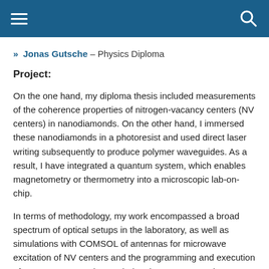[hamburger menu icon] [search icon]
» Jonas Gutsche – Physics Diploma
Project:
On the one hand, my diploma thesis included measurements of the coherence properties of nitrogen-vacancy centers (NV centers) in nanodiamonds. On the other hand, I immersed these nanodiamonds in a photoresist and used direct laser writing subsequently to produce polymer waveguides. As a result, I have integrated a quantum system, which enables magnetometry or thermometry into a microscopic lab-on-chip.
In terms of methodology, my work encompassed a broad spectrum of optical setups in the laboratory, as well as simulations with COMSOL of antennas for microwave excitation of NV centers and the programming and execution of measurement series on their coherence properties. I was also able to gain experience in the